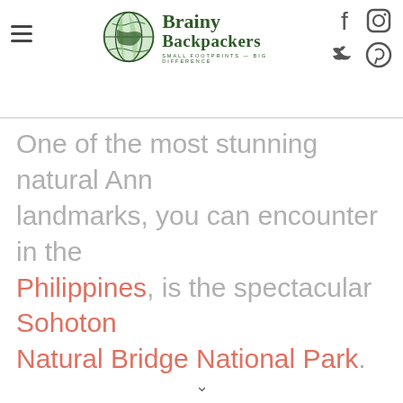Brainy Backpackers — Small Footprints Big Difference (header with logo and social icons)
One of the most stunning natural landmarks, you can encounter in the Philippines, is the spectacular Sohoton Natural Bridge National Park.